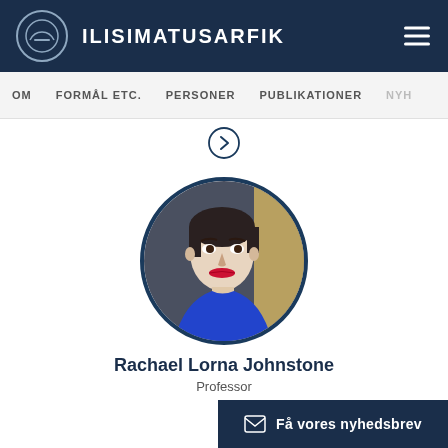ILISIMATUSARFIK
OM   FORMÅL ETC.   PERSONER   PUBLIKATIONER   NYH
[Figure (other): Circular right-arrow navigation button]
[Figure (photo): Circular portrait photo of Rachael Lorna Johnstone, a woman with short dark hair and red lipstick wearing a blue top]
Rachael Lorna Johnstone
Professor
Få vores nyhedsbrev